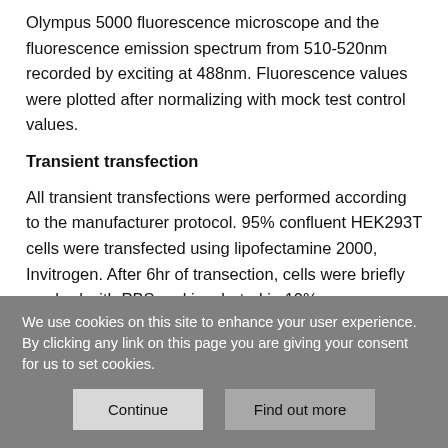Olympus 5000 fluorescence microscope and the fluorescence emission spectrum from 510-520nm recorded by exciting at 488nm. Fluorescence values were plotted after normalizing with mock test control values.
Transient transfection
All transient transfections were performed according to the manufacturer protocol. 95% confluent HEK293T cells were transfected using lipofectamine 2000, Invitrogen. After 6hr of transection, cells were briefly washed with PBS and incubated in 10% serum containing media for 24hr followed by which all treatments were performed in serum-free medium.
We use cookies on this site to enhance your user experience. By clicking any link on this page you are giving your consent for us to set cookies.